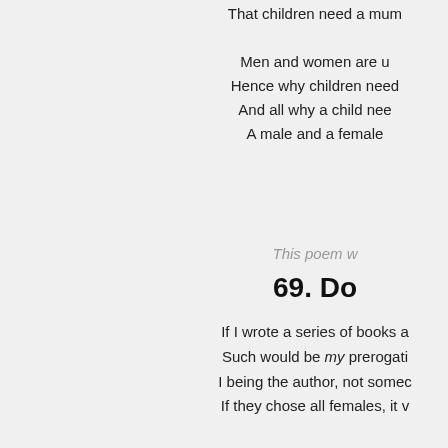That children need a mum
Men and women are u
Hence why children need
And all why a child nee
A male and a female
This poem w
69.  Do
If I wrote a series of books a
Such would be my prerogati
I being the author, not somec
If they chose all females, it v
So who are these dictato
One's right to choose, it such